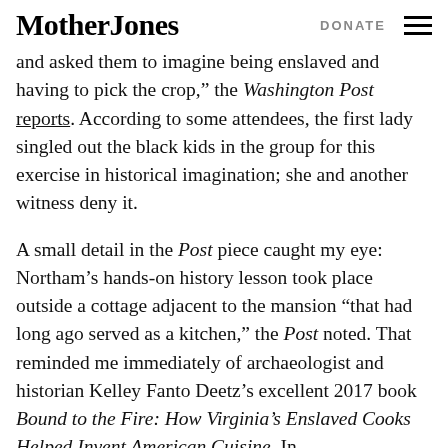Mother Jones | DONATE
and asked them to imagine being enslaved and having to pick the crop," the Washington Post reports. According to some attendees, the first lady singled out the black kids in the group for this exercise in historical imagination; she and another witness deny it.
A small detail in the Post piece caught my eye: Northam’s hands-on history lesson took place outside a cottage adjacent to the mansion “that had long ago served as a kitchen,” the Post noted. That reminded me immediately of archaeologist and historian Kelley Fanto Deetz’s excellent 2017 book Bound to the Fire: How Virginia’s Enslaved Cooks Helped Invent American Cuisine. In